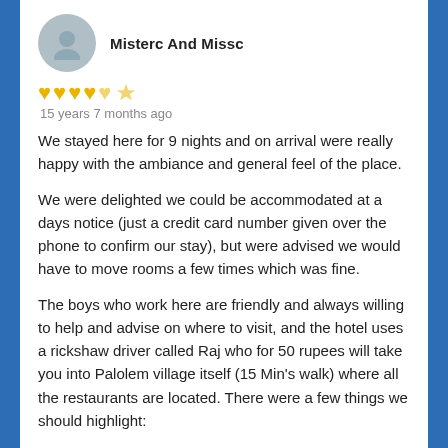Misterc And Missc
[Figure (illustration): Circular avatar placeholder icon with a person silhouette on a grey background]
[Figure (other): 4.5 star rating shown as yellow Yelp-style star icons (4 filled, 1 half)]
15 years 7 months ago
We stayed here for 9 nights and on arrival were really happy with the ambiance and general feel of the place.
We were delighted we could be accommodated at a days notice (just a credit card number given over the phone to confirm our stay), but were advised we would have to move rooms a few times which was fine.
The boys who work here are friendly and always willing to help and advise on where to visit, and the hotel uses a rickshaw driver called Raj who for 50 rupees will take you into Palolem village itself (15 Min's walk) where all the restaurants are located. There were a few things we should highlight: